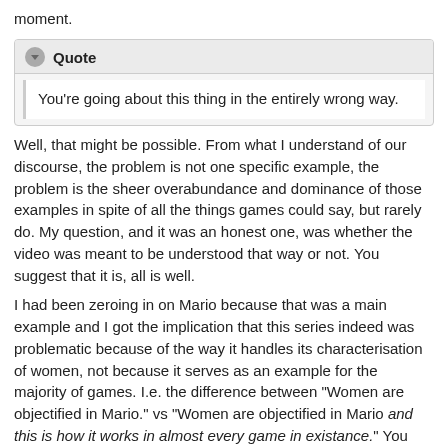moment.
You're going about this thing in the entirely wrong way.
Well, that might be possible. From what I understand of our discourse, the problem is not one specific example, the problem is the sheer overabundance and dominance of those examples in spite of all the things games could say, but rarely do. My question, and it was an honest one, was whether the video was meant to be understood that way or not. You suggest that it is, all is well.
I had been zeroing in on Mario because that was a main example and I got the implication that this series indeed was problematic because of the way it handles its characterisation of women, not because it serves as an example for the majority of games. I.e. the difference between "Women are objectified in Mario." vs "Women are objectified in Mario and this is how it works in almost every game in existance." You suggest it's the latter. I was hoping it would be. The presentation itself left me a bit unsure about that, though, so I felt it was important to ask, since there's a world of difference.
However, it seems like that's more semantics and/or my inability not to scrutinize mere examples for validity or look at things through a cultural lens to...